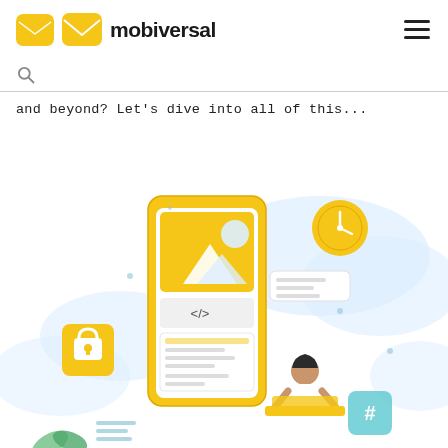mobiversal
and beyond? Let's dive into all of this...
[Figure (illustration): Illustration of a person sitting and working on a laptop next to a large smartphone displaying a photo/image app interface with mountains and sun, surrounded by UI elements including a lock icon, code brackets, hashtag icon, clock icon, and decorative cloud/plant shapes in yellow, blue, and white.]